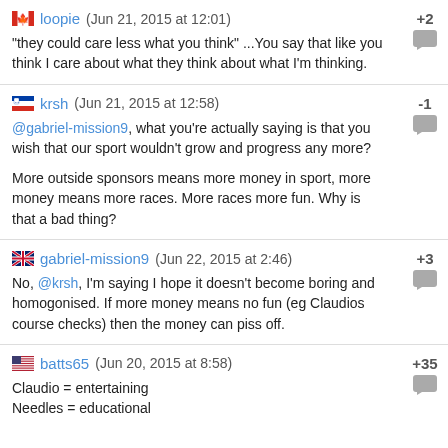loopie (Jun 21, 2015 at 12:01) +2 "they could care less what you think" ...You say that like you think I care about what they think about what I'm thinking.
krsh (Jun 21, 2015 at 12:58) -1 @gabriel-mission9, what you're actually saying is that you wish that our sport wouldn't grow and progress any more? More outside sponsors means more money in sport, more money means more races. More races more fun. Why is that a bad thing?
gabriel-mission9 (Jun 22, 2015 at 2:46) +3 No, @krsh, I'm saying I hope it doesn't become boring and homogonised. If more money means no fun (eg Claudios course checks) then the money can piss off.
batts65 (Jun 20, 2015 at 8:58) +35 Claudio = entertaining Needles = educational